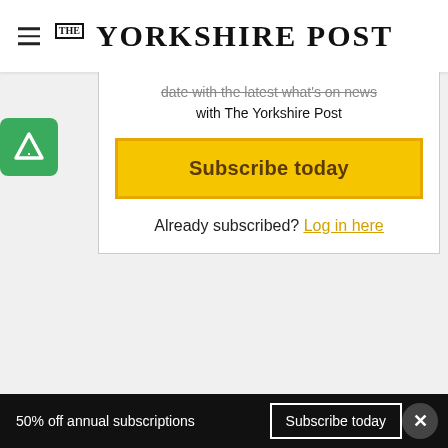THE YORKSHIRE POST
date with the latest what's on news with The Yorkshire Post
Subscribe today
Already subscribed? Log in here
[Figure (photo): Man in dark suit standing behind glass barrier at a sports arena, with orange-jersey players visible in the foreground]
50% off annual subscriptions   Subscribe today